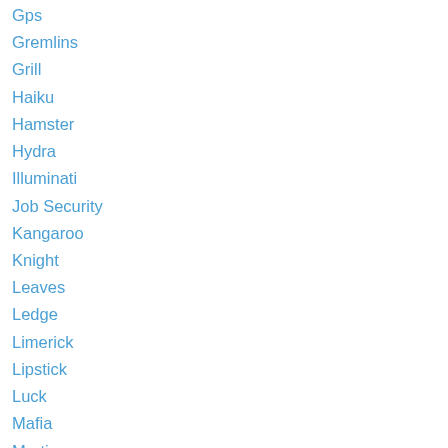Gps
Gremlins
Grill
Haiku
Hamster
Hydra
Illuminati
Job Security
Kangaroo
Knight
Leaves
Ledge
Limerick
Lipstick
Luck
Mafia
Martian
Maya
Megaladon
Miss Muffet